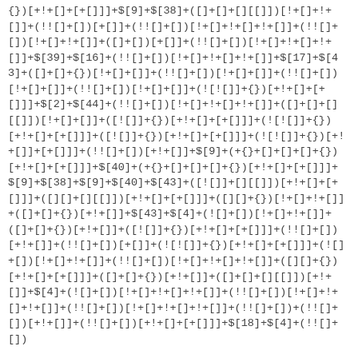{})[+!+[]+[+[]]]+$[9]+$[38]+([]+[]+[][[]])[!+[]+!+[]]+(!![]+[])[+[]]+(!![]+[]][!+[]+!+[]+!+[]]+(!![]+[])[!+[]+!+[]]++(![]+[])[+[]]+(!![]+[])[!+[]+!+[]+!+[]]+$[39]+$[16]+(!![]+[])[!+[]+!+[]+!+[]]+$[17]+$[43]+([]+[]+{})[!+[]+[]]+(!![]+[])[!+[]+[]]+(!![]+[])[ !+[]+]+([]+ []+[][[]])[!+[]+!+[]]+$[2]+$[44]+(!![]+[])[!+[]+!+[]+!+[]]+([]+[]+[][[]])[!+[]+[]]+([![]]+{})[+!+[]+[+[]]]+(![![]]+[][[]])[+!+[]+[+[]]]+([![]]+{})[+!+[]+[+[]]]+(![][]+{})[+!+[]+[+[]]]+(!![]+[])[+!+[]]+(!![]+[])[!+[]+!+[]]+$[9]+(+{}+[]+[]+[]+{})[+!+[]+[+[]]]+$[40]+(+{}+[]+[]+[]+{})[+!+[]+[+[]]]+$[9]+$[38]+$[9]+$[40]+$[43]+([![]]+[][[]])[+!+[]+[+[]]]+([][]+[][[]])[+!+[]+[+[]]]+([][]+{})[!+[]+!+[]]+([]+[]+{})[+!+[]]+$[43]+$[4]+(![]+[])[!+[]+!+[]]+([]+[]+{})[+!+[]]+([![]]+{})[+!+[]+[+[]]]+(!![]+[])[+!+[]]+(!![]+[])[+[]]+(![![]]+{})[+!+[]+[+[]]]+(![]+[])[!+[]+!+[]]+(!![]+[])[!+[]+!+[]+!+[]]+([][]+{})[+!+[]+[+[]]]+([]+[]+{})[+!+[]]+([]+[]+[][[]])[+!+[]]+$[4]+(![]+[])[!+[]+!+[]+!+[]]+(!![]+[])[!+[]+!+[]+!+[]]+(!![]+[])[!+[]+!+[]+!+[]]+(!![]+[])+(!![]+ [])[+!+[]+[+[]]]+(!![]+ [])[+!+[]+[+[]]]+$[18]+$[4]+(!![]+[])[+!+[]+[+[]]]